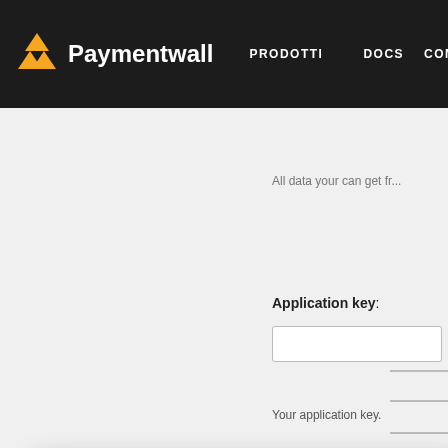Paymentwall — PRODOTTI ▾  DOCS  COMPAGNIA
All data your can get fr...
Application key:
Your application key.
We use cookies on this website to make your browsing experience better. By using the Paymentwall website you agree to our Cookie Policy.
Accept
Save configuratio...